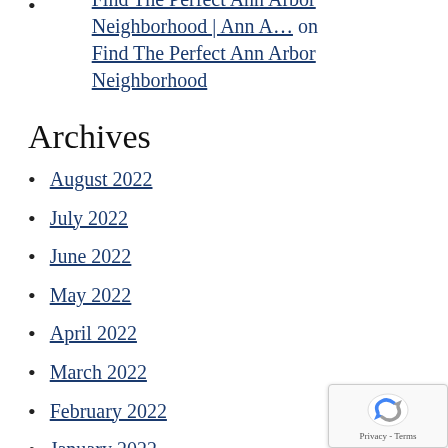Find The Perfect Ann Arbor Neighborhood | Ann A… on Find The Perfect Ann Arbor Neighborhood
Archives
August 2022
July 2022
June 2022
May 2022
April 2022
March 2022
February 2022
January 2022